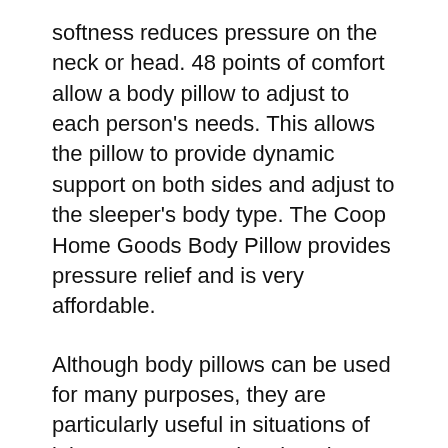softness reduces pressure on the neck or head. 48 points of comfort allow a body pillow to adjust to each person's needs. This allows the pillow to provide dynamic support on both sides and adjust to the sleeper's body type. The Coop Home Goods Body Pillow provides pressure relief and is very affordable.
Although body pillows can be used for many purposes, they are particularly useful in situations of injury or surgery. Chronic pain patients may find it difficult or impossible to sleep in the same position they used before. These individuals can find alternate sleeping positions with the help of body pillows, which can help them recover more quickly. Additionally, pregnant women can use a